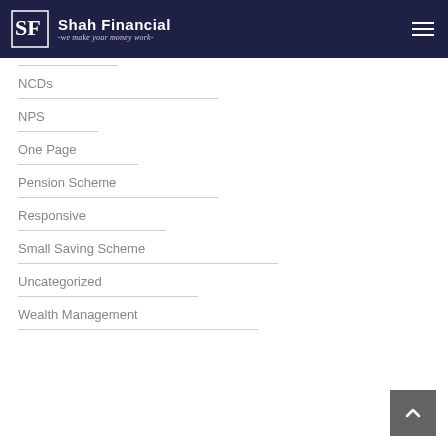Shah Financial - we make your money work-
NCDs
NPS
One Page
Pension Scheme
Responsive
Small Saving Scheme
Uncategorized
Wealth Management